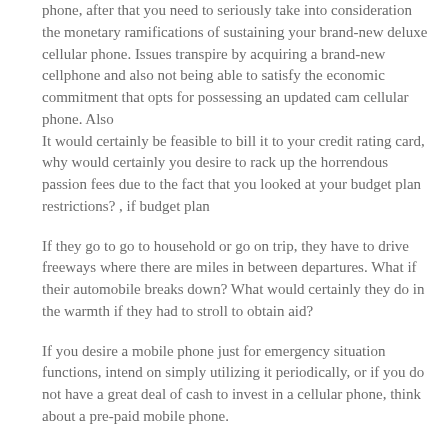phone, after that you need to seriously take into consideration the monetary ramifications of sustaining your brand-new deluxe cellular phone. Issues transpire by acquiring a brand-new cellphone and also not being able to satisfy the economic commitment that opts for possessing an updated cam cellular phone. Also It would certainly be feasible to bill it to your credit rating card, why would certainly you desire to rack up the horrendous passion fees due to the fact that you looked at your budget plan restrictions? , if budget plan
If they go to go to household or go on trip, they have to drive freeways where there are miles in between departures. What if their automobile breaks down? What would certainly they do in the warmth if they had to stroll to obtain aid?
If you desire a mobile phone just for emergency situation functions, intend on simply utilizing it periodically, or if you do not have a great deal of cash to invest in a cellular phone, think about a pre-paid mobile phone.
Their cell phone telephone call placed all of us at convenience. The car club obtained out there ideal away and also obtained them to the local